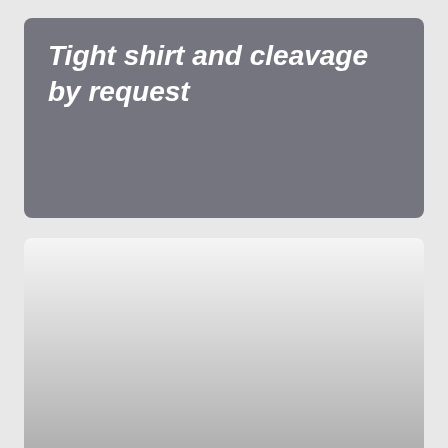Tight shirt and cleavage by request
[Figure (photo): A large light gray placeholder image area below the title, fading from white at the top to medium gray at the bottom, with rounded top corners.]